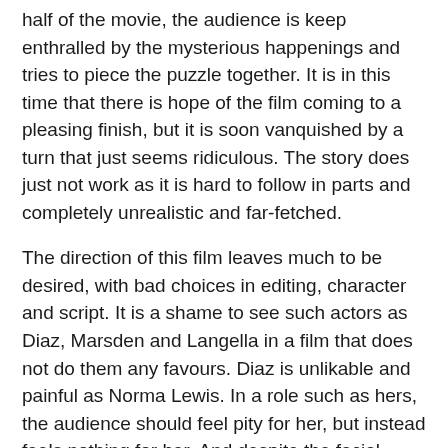half of the movie, the audience is keep enthralled by the mysterious happenings and tries to piece the puzzle together. It is in this time that there is hope of the film coming to a pleasing finish, but it is soon vanquished by a turn that just seems ridiculous. The story does just not work as it is hard to follow in parts and completely unrealistic and far-fetched.
The direction of this film leaves much to be desired, with bad choices in editing, character and script. It is a shame to see such actors as Diaz, Marsden and Langella in a film that does not do them any favours. Diaz is unlikable and painful as Norma Lewis. In a role such as hers, the audience should feel pity for her, but instead feels nothing for her. And despite the facial abnormalities of Langella, his character is not intimidating or scary, or whatever he is supposed to be. Not a good choice of role to his follow up from “Frost/Nixon”. Their was evident character development for each of the characters which made the audience understand and acknowledge were each of them had came from, yet this was not enough to create any type of connection or empathy with them.